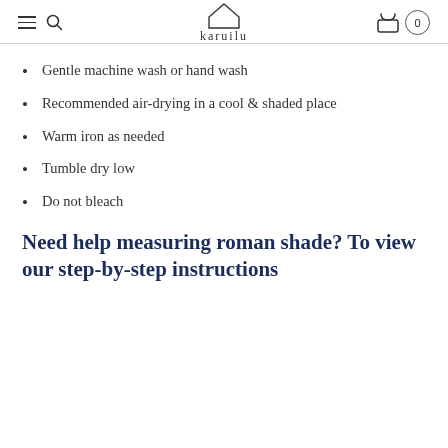karuilu — navigation header with hamburger menu, search icon, logo, cart icon, and cart count 0
Gentle machine wash or hand wash
Recommended air-drying in a cool & shaded place
Warm iron as needed
Tumble dry low
Do not bleach
Need help measuring roman shade? To view our step-by-step instructions